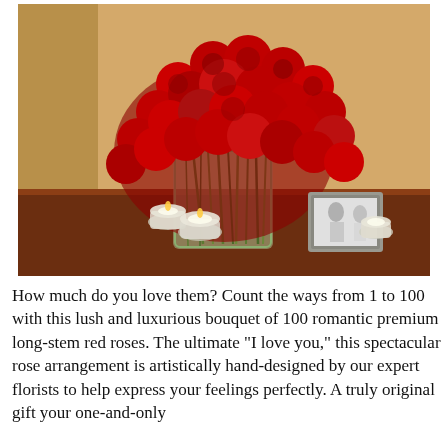[Figure (photo): A large bouquet of 100 red roses in a clear cylindrical glass vase with green stems visible inside, sitting on a dark wood table. Two small glass candle holders with white candles are to the left of the vase, and a small framed black-and-white wedding photo and another small glass candle holder are to the right.]
How much do you love them? Count the ways from 1 to 100 with this lush and luxurious bouquet of 100 romantic premium long-stem red roses. The ultimate "I love you," this spectacular rose arrangement is artistically hand-designed by our expert florists to help express your feelings perfectly. A truly original gift your one-and-only